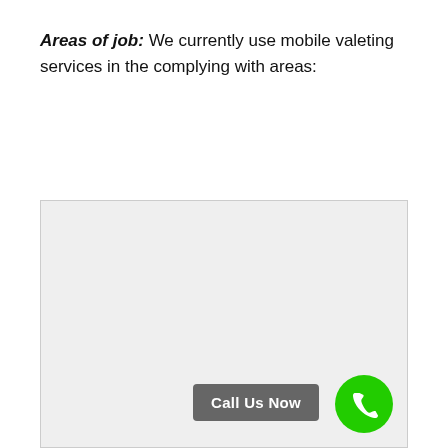Areas of job: We currently use mobile valeting services in the complying with areas:
[Figure (map): A grey placeholder map area showing service coverage regions, with a 'Call Us Now' button and a green phone icon button overlaid at the bottom right.]